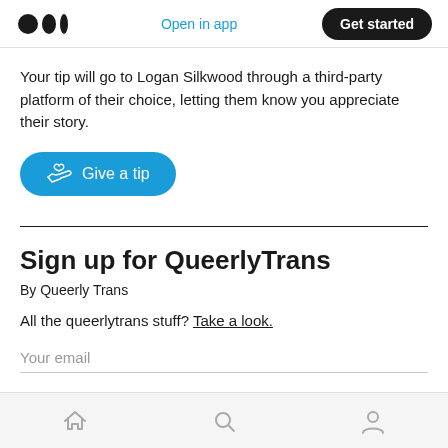Medium logo | Open in app | Get started
Your tip will go to Logan Silkwood through a third-party platform of their choice, letting them know you appreciate their story.
[Figure (other): Teal 'Give a tip' button with hand-and-heart icon]
Sign up for QueerlyTrans
By Queerly Trans
All the queerlytrans stuff? Take a look.
Your email
Bottom navigation bar with home, search, and profile icons